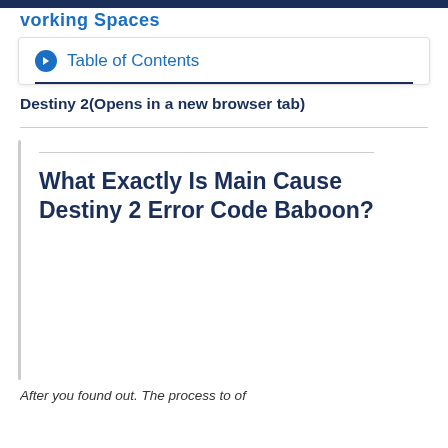Vorking Spaces
Table of Contents
Destiny 2(Opens in a new browser tab)
What Exactly Is Main Cause Destiny 2 Error Code Baboon?
After you found out. The process to of